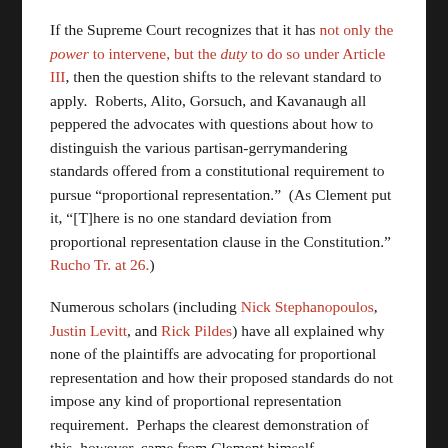If the Supreme Court recognizes that it has not only the power to intervene, but the duty to do so under Article III, then the question shifts to the relevant standard to apply. Roberts, Alito, Gorsuch, and Kavanaugh all peppered the advocates with questions about how to distinguish the various partisan-gerrymandering standards offered from a constitutional requirement to pursue “proportional representation.” (As Clement put it, “[T]here is no one standard deviation from proportional representation clause in the Constitution.” Rucho Tr. at 26.)
Numerous scholars (including Nick Stephanopoulos, Justin Levitt, and Rick Pildes) have all explained why none of the plaintiffs are advocating for proportional representation and how their proposed standards do not impose any kind of proportional representation requirement. Perhaps the clearest demonstration of this, however, came from Clement himself.
Early in the Rucho arguments, Justice Kagan explained why “the benchmark [for an outlier analysis] is not proportional representation.” Rucho Tr. at 27. As Kagan stated, “The benchmark is the natural political geography of the state plus all